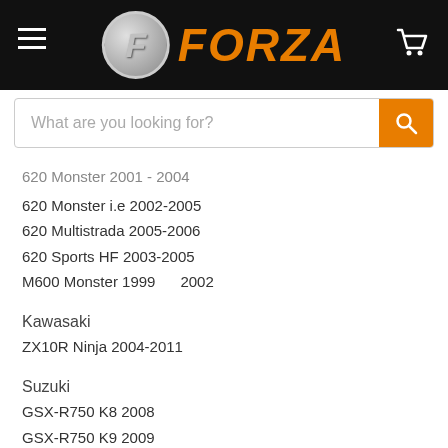[Figure (logo): Forza logo with hamburger menu and cart icon on black header bar]
What are you looking for?
620 Monster i.e 2002-2005
620 Multistrada 2005-2006
620 Sports HF 2003-2005
M600 Monster 1999      2002
Kawasaki
ZX10R Ninja 2004-2011
Suzuki
GSX-R750 K8 2008
GSX-R750 K9 2009
Yamaha
YZF-R1 1998      2003
TDM900 2004-2010
XVS650 Dragstar 2005 - 2006
XVS650 Dragstar 1998 - 2002